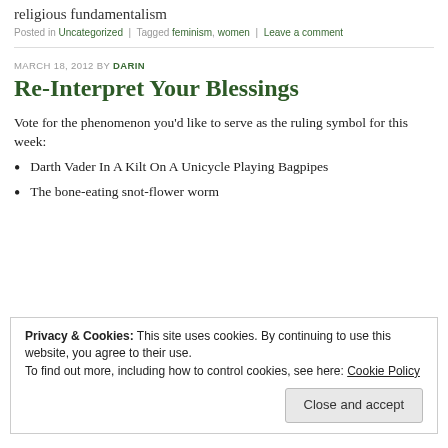religious fundamentalism
Posted in Uncategorized | Tagged feminism, women | Leave a comment
MARCH 18, 2012 BY DARIN
Re-Interpret Your Blessings
Vote for the phenomenon you'd like to serve as the ruling symbol for this week:
Darth Vader In A Kilt On A Unicycle Playing Bagpipes
The bone-eating snot-flower worm
Privacy & Cookies: This site uses cookies. By continuing to use this website, you agree to their use.
To find out more, including how to control cookies, see here: Cookie Policy
Close and accept